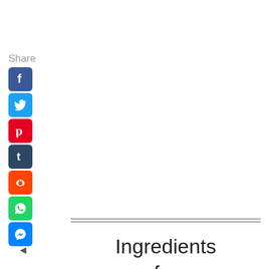Share
[Figure (infographic): Vertical stack of social media share buttons: Facebook (blue), Twitter (light blue), Pinterest (red), Tumblr (dark navy), Reddit (orange), WhatsApp (green), Messenger (blue)]
◄
Ingredients for